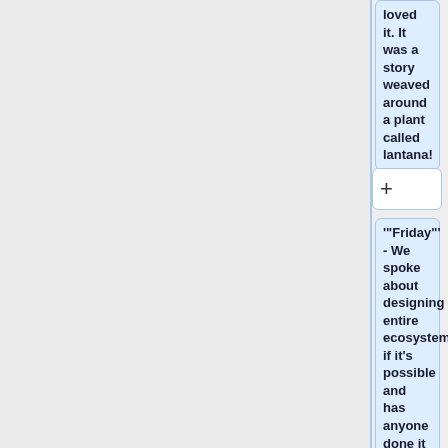loved it. It was a story weaved around a plant called lantana!
+
'"Friday"' - We spoke about designing entire ecosystems, if it's possible and has anyone done it before successfully? we thought about designing ecosystems that include our mythological bacteria. In our case for our Samdura Manthan
+